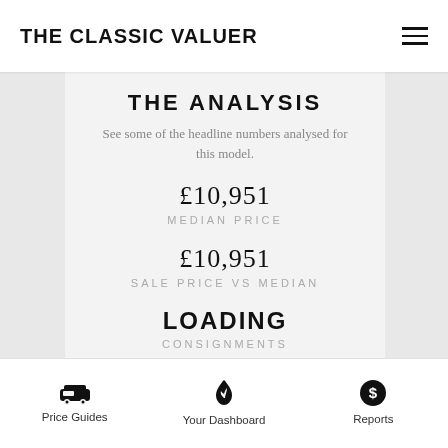THE CLASSIC VALUER
THE ANALYSIS
See some of the headline numbers analysed for this model.
£10,951
MEDIAN PRICE
£10,951
SALE PRICE VS MEDIAN
LOADING
CONSIGNMENTS
LOADING
SOLD CARS
Price Guides   Your Dashboard   Reports